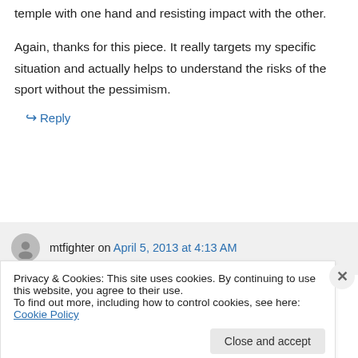temple with one hand and resisting impact with the other.
Again, thanks for this piece. It really targets my specific situation and actually helps to understand the risks of the sport without the pessimism.
↳ Reply
mtfighter on April 5, 2013 at 4:13 AM
Privacy & Cookies: This site uses cookies. By continuing to use this website, you agree to their use.
To find out more, including how to control cookies, see here: Cookie Policy